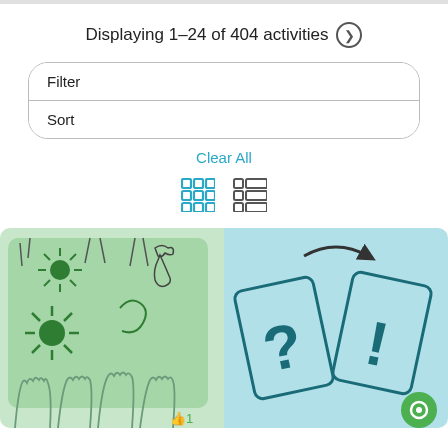Displaying 1–24 of 404 activities
Filter
Sort
Clear All
[Figure (screenshot): Grid and list view toggle icons in teal/cyan color]
[Figure (illustration): Left card with green background showing hands raised and spiky shapes (viruses/bugs). Right card with light blue background showing question mark and exclamation mark cards with a rotation arrow symbol.]